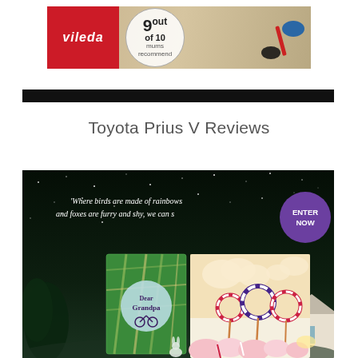[Figure (photo): Vileda advertisement banner: red section with Vileda logo on left, circular badge showing '9 out of 10 mums recommend' in center, cleaning mop tool on right, on a wooden surface background]
[Figure (photo): Dark night sky scene with children's book 'Dear Grandpa' shown open and closed, candy land illustration with lollipops and pink meringues, quote text reading 'Where birds are made of rainbows and foxes are furry and shy, we can s...' with purple 'ENTER NOW' circular badge overlay]
Toyota Prius V Reviews